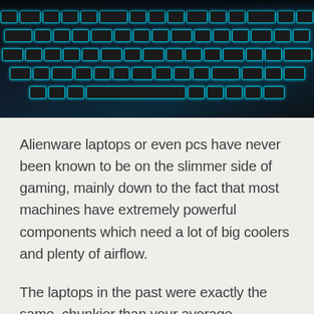[Figure (photo): Close-up photograph of a dark gaming laptop keyboard with teal/cyan backlighting, showing illuminated keys against a dark background.]
Alienware laptops or even pcs have never been known to be on the slimmer side of gaming, mainly down to the fact that most machines have extremely powerful components which need a lot of big coolers and plenty of airflow.
The laptops in the past were exactly the same, chunkier than your average household laptop because they needed to have graphics cards that could actually